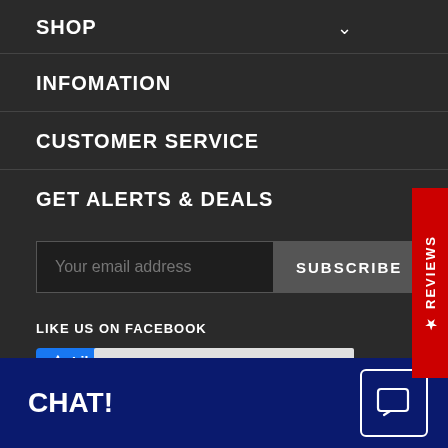SHOP
INFOMATION
CUSTOMER SERVICE
GET ALERTS & DEALS
Your email address
SUBSCRIBE
LIKE US ON FACEBOOK
Like 9.9K
Share
REVIEWS
CHAT!